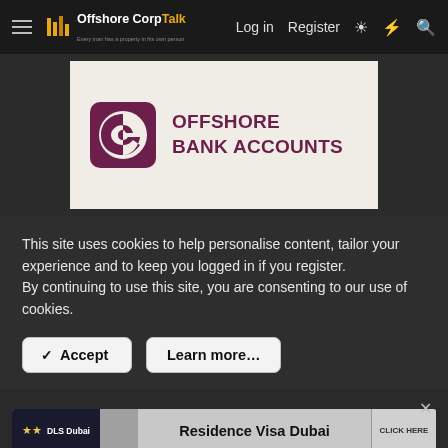OffshoreCorpTalk — Log in  Register
[Figure (logo): Offshore Bank Accounts logo on a beige background — purple square icon with stylized swirl and text OFFSHORE BANK ACCOUNTS in purple bold uppercase letters]
This site uses cookies to help personalise content, tailor your experience and to keep you logged in if you register.
By continuing to use this site, you are consenting to our use of cookies.
✓ Accept    Learn more…
[Figure (infographic): DLS Dubai advertisement banner — Residence Visa Dubai with CLICK HERE button]